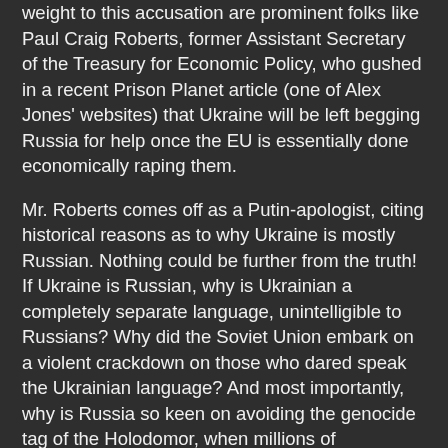weight to this accusation are prominent folks like Paul Craig Roberts, former Assistant Secretary of the Treasury for Economic Policy, who gushed in a recent Prison Planet article (one of Alex Jones' websites) that Ukraine will be left begging Russia for help once the EU is essentially done economically raping them.
Mr. Roberts comes off as a Putin-apologist, citing historical reasons as to why Ukraine is mostly Russian. Nothing could be further from the truth! If Ukraine is Russian, why is Ukrainian a completely separate language, unintelligible to Russians? Why did the Soviet Union embark on a violent crackdown on those who dared speak the Ukrainian language? And most importantly, why is Russia so keen on avoiding the genocide tag of the Holodomor, when millions of Ukrainians were deliberately starved to death prior to the start of the Second World War?
In fact, no discussion on Ukrainian politics is complete without addressing the Holodomor, a genocide that occurred "only in reality" and is strangely missing from most people's history books. To not mention this is akin to understanding the Jewish experience in the